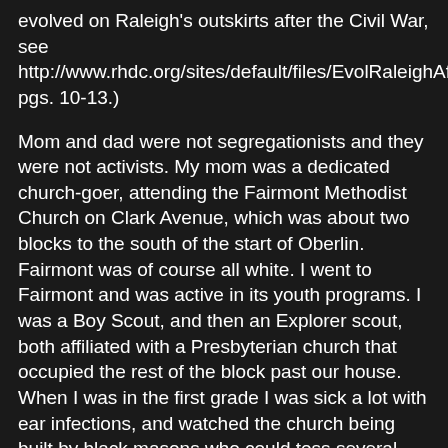evolved on Raleigh's outskirts after the Civil War, see http://www.rhdc.org/sites/default/files/EvolRaleighAfricanAmericanNeigh.pdf pgs. 10-13.)
Mom and dad were not segregationists and they were not activists. My mom was a dedicated church-goer, attending the Fairmont Methodist Church on Clark Avenue, which was about two blocks to the south of the start of Oberlin. Fairmont was of course all white. I went to Fairmont and was active in its youth programs. I was a Boy Scout, and then an Explorer scout, both affiliated with a Presbyterian church that occupied the rest of the block past our house. When I was in the first grade I was sick a lot with ear infections, and watched the church being built by black masons who could toss several bricks at a time up to men on the scaffold two stories high. My window was facing the construction. When I first saw the bricks flying past I thought they were birds, cardinals. You could build a brick church where an old wood one had been, maybe, but you couldn't kick over the whites only water fountain in front of the courthouse. We could drive down to the Seaboard Station on Peace Street and watch the trains come and go for family entertainment. We could